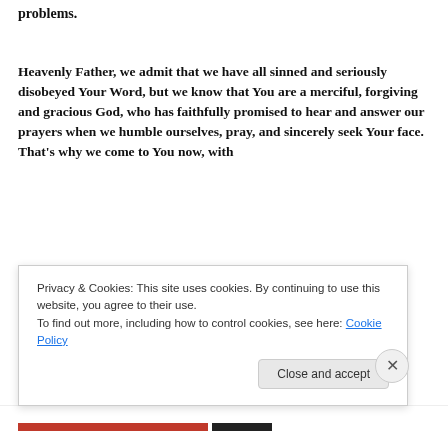problems.
Heavenly Father, we admit that we have all sinned and seriously disobeyed Your Word, but we know that You are a merciful, forgiving and gracious God, who has faithfully promised to hear and answer our prayers when we humble ourselves, pray, and sincerely seek Your face. That's why we come to You now, with
Privacy & Cookies: This site uses cookies. By continuing to use this website, you agree to their use.
To find out more, including how to control cookies, see here: Cookie Policy
Close and accept